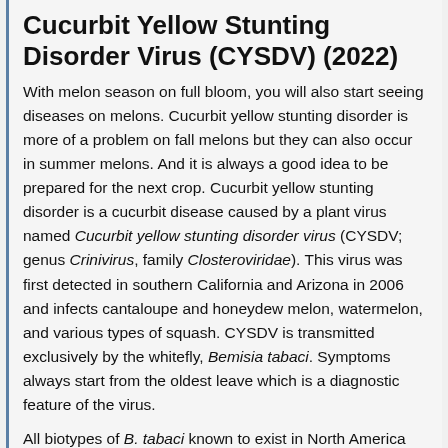Cucurbit Yellow Stunting Disorder Virus (CYSDV) (2022)
With melon season on full bloom, you will also start seeing diseases on melons. Cucurbit yellow stunting disorder is more of a problem on fall melons but they can also occur in summer melons. And it is always a good idea to be prepared for the next crop. Cucurbit yellow stunting disorder is a cucurbit disease caused by a plant virus named Cucurbit yellow stunting disorder virus (CYSDV; genus Crinivirus, family Closteroviridae). This virus was first detected in southern California and Arizona in 2006 and infects cantaloupe and honeydew melon, watermelon, and various types of squash. CYSDV is transmitted exclusively by the whitefly, Bemisia tabaci. Symptoms always start from the oldest leave which is a diagnostic feature of the virus.
All biotypes of B. tabaci known to exist in North America